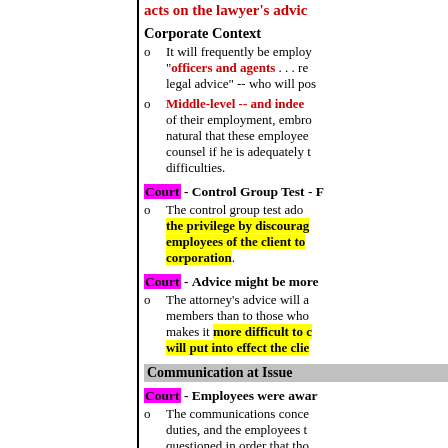acts on the lawyer's advice
Corporate Context
It will frequently be employed "officers and agents . . . re legal advice" -- who will pos
Middle-level -- and indee of their employment,embro natural that these employee counsel if he is adequately t difficulties.
Court - Control Group Test - F
The control group test ado the privilege by discourag employees of the client to corporation.
Court - Advice might be more
The attorney's advice will a members than to those who makes it more difficult to c will put into effect the clie
Communication at Issue
Court - Employees were awar
The communications conce duties, and the employees t questioned in order that tho